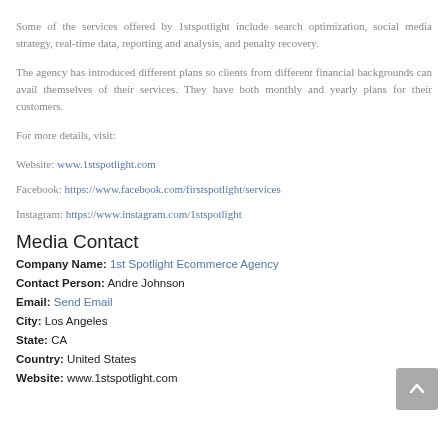Some of the services offered by 1stspotlight include search optimization, social media strategy, real-time data, reporting and analysis, and penalty recovery.
The agency has introduced different plans so clients from different financial backgrounds can avail themselves of their services. They have both monthly and yearly plans for their customers.
For more details, visit:
Website: www.1stspotlight.com
Facebook: https://www.facebook.com/firstspotlight/services
Instagram: https://www.instagram.com/1stspotlight
Media Contact
Company Name: 1st Spotlight Ecommerce Agency
Contact Person: Andre Johnson
Email: Send Email
City: Los Angeles
State: CA
Country: United States
Website: www.1stspotlight.com